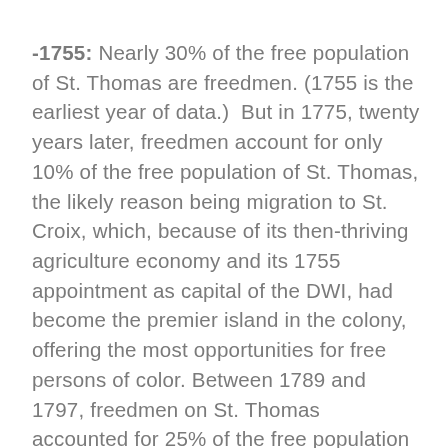-1755: Nearly 30% of the free population of St. Thomas are freedmen. (1755 is the earliest year of data.)  But in 1775, twenty years later, freedmen account for only 10% of the free population of St. Thomas, the likely reason being migration to St. Croix, which, because of its then-thriving agriculture economy and its 1755 appointment as capital of the DWI, had become the premier island in the colony, offering the most opportunities for free persons of color. Between 1789 and 1797, freedmen on St. Thomas accounted for 25% of the free population on that island, but only 4% of the overall population. The island of St. John never had a total of more than 20 freedmen (10% of the total free population of that island) before the end of the